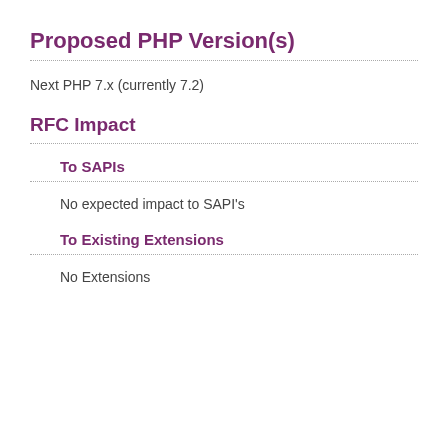Proposed PHP Version(s)
Next PHP 7.x (currently 7.2)
RFC Impact
To SAPIs
No expected impact to SAPI's
To Existing Extensions
No Extensions